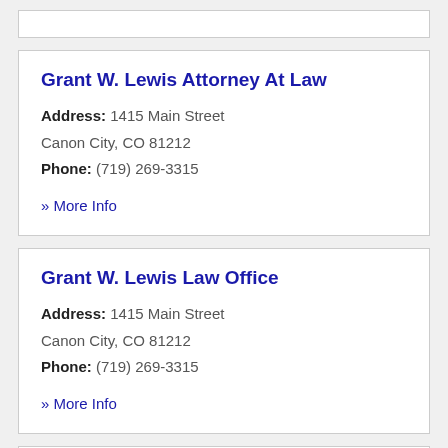Grant W. Lewis Attorney At Law
Address: 1415 Main Street
Canon City, CO 81212
Phone: (719) 269-3315
» More Info
Grant W. Lewis Law Office
Address: 1415 Main Street
Canon City, CO 81212
Phone: (719) 269-3315
» More Info